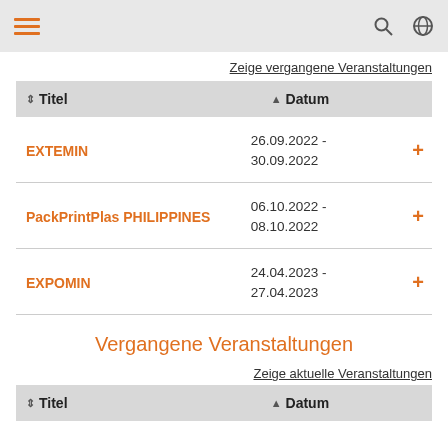Navigation bar with hamburger menu, search, and globe icons
Zeige vergangene Veranstaltungen
| ⇕ Titel | ▲ Datum |
| --- | --- |
| EXTEMIN | 26.09.2022 -
30.09.2022 |
| PackPrintPlas PHILIPPINES | 06.10.2022 -
08.10.2022 |
| EXPOMIN | 24.04.2023 -
27.04.2023 |
Vergangene Veranstaltungen
Zeige aktuelle Veranstaltungen
| ⇕ Titel | ▲ Datum |
| --- | --- |